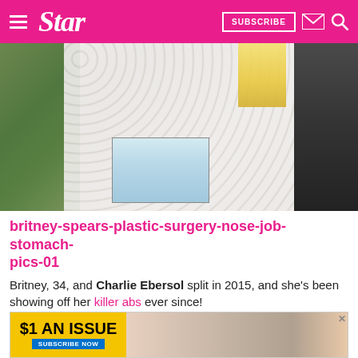Star — SUBSCRIBE
[Figure (photo): Close-up photo of a woman in a white lace top holding a light blue handbag, with blonde hair visible and a dark jacket beside her]
britney-spears-plastic-surgery-nose-job-stomach-pics-01
Britney, 34, and Charlie Ebersol split in 2015, and she's been showing off her killer abs ever since!
Photo cre
[Figure (infographic): Advertisement banner: $1 AN ISSUE, SUBSCRIBE NOW, with celebrity magazine covers]